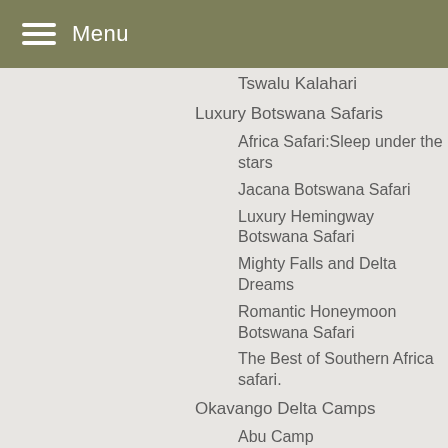Menu
Tswalu Kalahari
Luxury Botswana Safaris
Africa Safari:Sleep under the stars
Jacana Botswana Safari
Luxury Hemingway Botswana Safari
Mighty Falls and Delta Dreams
Romantic Honeymoon Botswana Safari
The Best of Southern Africa safari.
Okavango Delta Camps
Abu Camp
Duba Plains
Jao Camp
Kings Pool Camp
Little Momba
Momba Camp
Vumbura Plains Camp
Private Fly In Safaris
10 nights – Botswana/Victoria Falls
14N/15D Desert and Delta Discovery
6N/7 Day Fly in Botswana Safari
8N/9D Botswana Highlights
Savute Camps
Savute Elephant Camp
Selinda / Kwando Camps
Kwando Lebala